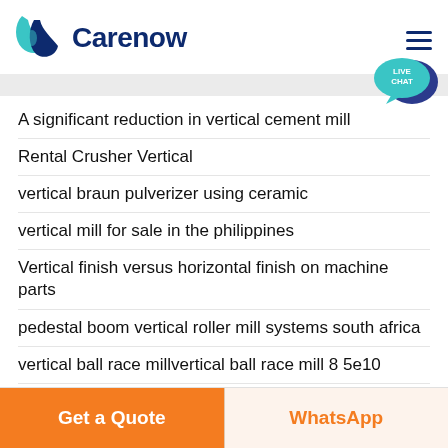[Figure (logo): Carenow logo with teal/navy leaf icon and bold dark blue Carenow text]
A significant reduction in vertical cement mill
Rental Crusher Vertical
vertical braun pulverizer using ceramic
vertical mill for sale in the philippines
Vertical finish versus horizontal finish on machine parts
pedestal boom vertical roller mill systems south africa
vertical ball race millvertical ball race mill 8 5e10
about mps piffeir vertical roller raw mills formulas
the peak vertical impact crusher mill
Vertical Milling Correa
Get a Quote
WhatsApp